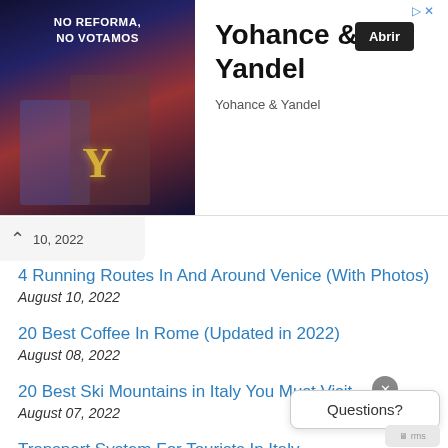[Figure (screenshot): Ad banner for Yohance & Yandel with album image on left, title and Abrir button on right]
10, 2022
4 Running Routes In And Around Venice (With Photos)
August 10, 2022
20 Best Coffee In Rome (Updated in 2022)
August 08, 2022
20 Best Ski Mountains in Italy You Must Visit
August 07, 2022
Transport System For Tourists In Italy
August 05, 2022
What Is The Work Culture Like In Italy?
August 03, 2022
Questions?